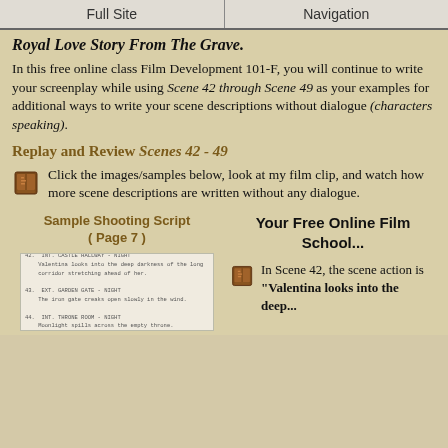Full Site | Navigation
Royal Love Story From The Grave.
In this free online class Film Development 101-F, you will continue to write your screenplay while using Scene 42 through Scene 49 as your examples for additional ways to write your scene descriptions without dialogue (characters speaking).
Replay and Review Scenes 42 - 49
Click the images/samples below, look at my film clip, and watch how more scene descriptions are written without any dialogue.
Sample Shooting Script ( Page 7 )
[Figure (screenshot): Sample shooting script page 7 thumbnail]
Your Free Online Film School...
In Scene 42, the scene action is “Valentina looks into the deep...